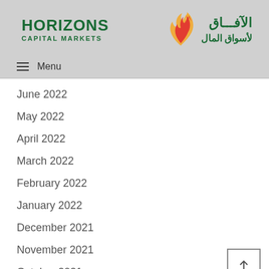[Figure (logo): Horizons Capital Markets logo with Arabic text and flame/arrow graphic]
≡ Menu
June 2022
May 2022
April 2022
March 2022
February 2022
January 2022
December 2021
November 2021
October 2021